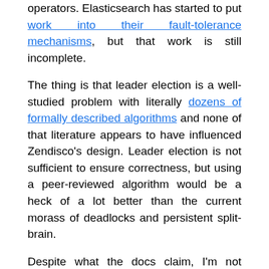operators. Elasticsearch has started to put work into their fault-tolerance mechanisms, but that work is still incomplete.
The thing is that leader election is a well-studied problem with literally dozens of formally described algorithms and none of that literature appears to have influenced Zendisco's design. Leader election is not sufficient to ensure correctness, but using a peer-reviewed algorithm would be a heck of a lot better than the current morass of deadlocks and persistent split-brain.
Despite what the docs claim, I'm not convinced that Elasticsearch actually does synchronous replication correctly. It looks to me–and I haven't verified this with a packet trace yet, so this is a bit shaky–that primary nodes can acknowledge writes made even when they're isolated from the rest of the cluster. The patterns of write loss in the Jensen